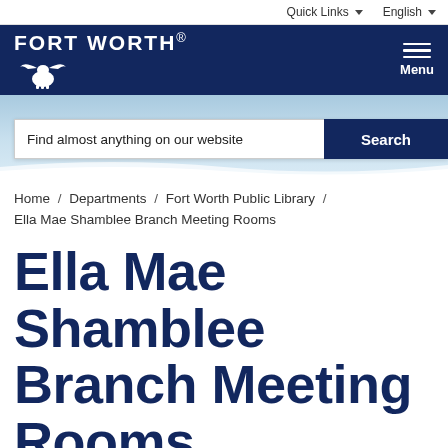Quick Links   English
[Figure (logo): Fort Worth city logo with longhorn silhouette on navy background, with hamburger menu icon and 'Menu' label on right]
[Figure (screenshot): Hero image with city skyline background and search bar reading 'Find almost anything on our website' with navy Search button]
Home / Departments / Fort Worth Public Library / Ella Mae Shamblee Branch Meeting Rooms
Ella Mae Shamblee Branch Meeting Rooms